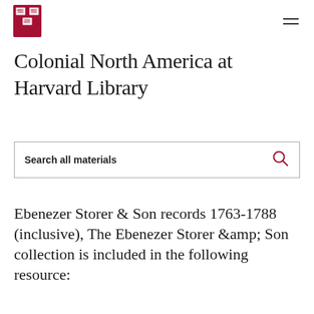[Figure (logo): Harvard University shield logo in red and white, with hamburger menu icon on right]
Colonial North America at Harvard Library
Search all materials
Ebenezer Storer & Son records 1763-1788 (inclusive), The Ebenezer Storer & Son collection is included in the following resource: